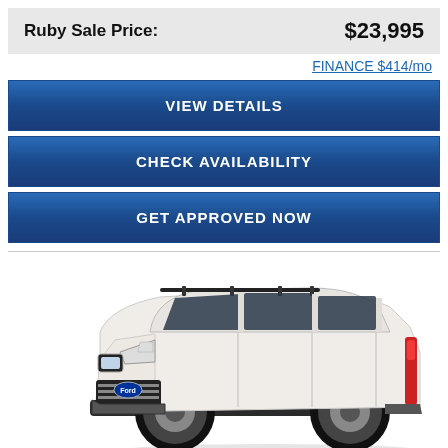Ruby Sale Price: $23,995
FINANCE $414/mo
VIEW DETAILS
CHECK AVAILABILITY
GET APPROVED NOW
[Figure (photo): White Ford Expedition SUV shown in 3/4 front view against white background]